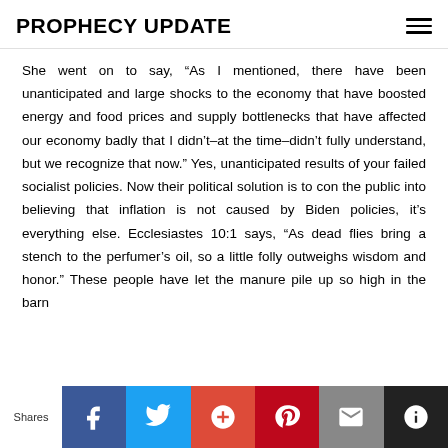PROPHECY UPDATE
She went on to say, “As I mentioned, there have been unanticipated and large shocks to the economy that have boosted energy and food prices and supply bottlenecks that have affected our economy badly that I didn’t–at the time–didn’t fully understand, but we recognize that now.” Yes, unanticipated results of your failed socialist policies. Now their political solution is to con the public into believing that inflation is not caused by Biden policies, it’s everything else. Ecclesiastes 10:1 says, “As dead flies bring a stench to the perfumer’s oil, so a little folly outweighs wisdom and honor.” These people have let the manure pile up so high in the barn
Shares